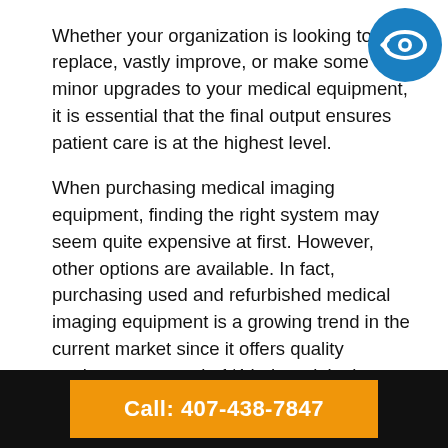Whether your organization is looking to replace, vastly improve, or make some minor upgrades to your medical equipment, it is essential that the final output ensures patient care is at the highest level.
[Figure (logo): Circular blue logo with a stylized eye/vision icon in white, representing a medical imaging or vision-related company.]
When purchasing medical imaging equipment, finding the right system may seem quite expensive at first. However, other options are available. In fact, purchasing used and refurbished medical imaging equipment is a growing trend in the current market since it offers quality equipment at nearly 1/4th the original cost while guaranteeing quality usage. However, it's essential to make sure that you make your purchase from a reputed firm since unknown places may skimp on precautionary
Call: 407-438-7847